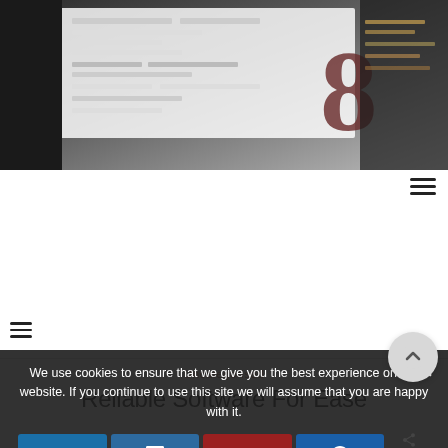[Figure (photo): Blurred hero image of a tablet/screen showing text and infographic content with dark background and warm color tones]
≡
≡
Uncategorised
Reliable Software For Ease
We use cookies to ensure that we give you the best experience on our website. If you continue to use this site we will assume that you are happy with it.
Ok
0 SHARES